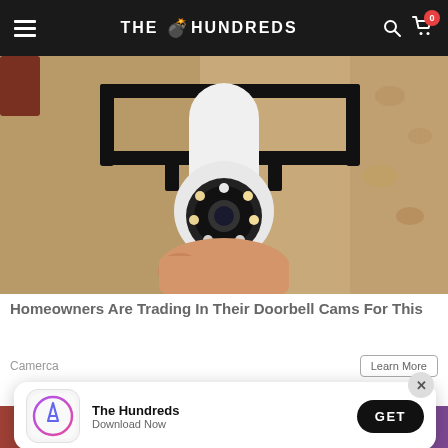THE HUNDREDS
[Figure (photo): Close-up photo of a person's hand installing or holding a white outdoor security camera with LED ring lights, mounted on a black metal bracket against a textured stucco/stone wall]
Homeowners Are Trading In Their Doorbell Cams For This
Camerca
Learn More
[Figure (photo): Partially visible photo below the ad card, showing colorful scene]
[Figure (screenshot): App install popup banner: The Hundreds app icon (Apple App Store icon style with gradient purple/pink circle), app name 'The Hundreds', subtitle 'Download Now', and a black GET button. A gray X close button appears at top right.]